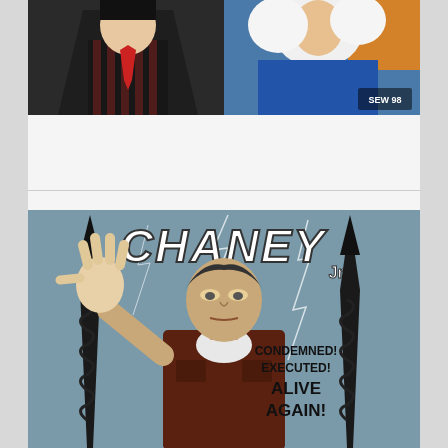[Figure (illustration): Two illustrated portrait panels side by side: left panel shows a figure in black with red and black vertical striped lower garment against dark background; right panel shows a white-haired figure in blue against blue/orange background with artist watermark 'SEW 98' in lower right.]
[Figure (illustration): Black and white comic/poster illustration of Lon Chaney Jr. depicted as a monster/creature. Large stylized lightning-bolt text reads 'CHANEY Jr.' at top. Central figure is a heavyset man in dark jacket with one hand raised, flanked by two dark spiked poles/trees. Text on right reads 'CONDEMNED! EXECUTED! ALIVE AGAIN!' Bottom of image cut off.]